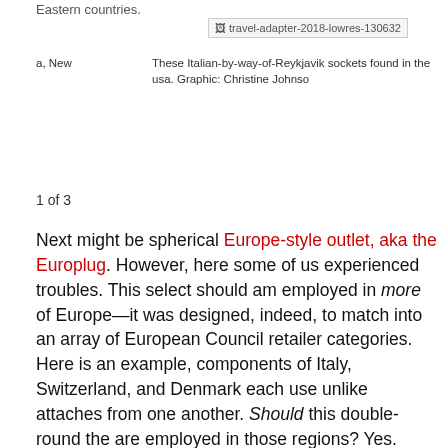Eastern countries.
[Figure (photo): Broken image placeholder labeled travel-adapter-2018-lowres-130632]
a, New   These Italian-by-way-of-Reykjavik sockets found in the usa. Graphic: Christine Johnson
1 of 3
Next might be spherical Europe-style outlet, aka the Europlug. However, here some of us experienced troubles. This select should am employed in more of Europe—it was designed, indeed, to match into an array of European Council retailer categories. Here is an example, components of Italy, Switzerland, and Denmark each use unlike attaches from one another. Should this double-round the are employed in those regions? Yes. Could it? Not easy to convey. I've stuck in websites at which our Europlug didn't work, yet them used within hostel before and motel after—all within your identical tiny region of a nation. Hopefully, in such a circumstance